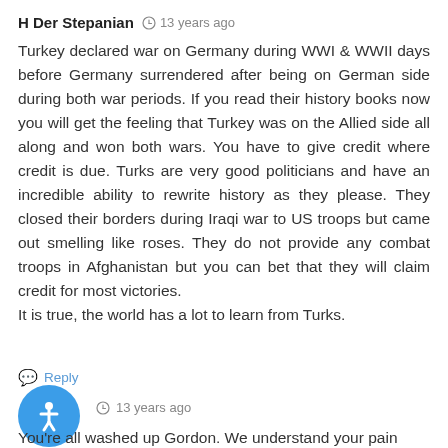H Der Stepanian  ⏱ 13 years ago
Turkey declared war on Germany during WWI & WWII days before Germany surrendered after being on German side during both war periods. If you read their history books now you will get the feeling that Turkey was on the Allied side all along and won both wars. You have to give credit where credit is due. Turks are very good politicians and have an incredible ability to rewrite history as they please. They closed their borders during Iraqi war to US troops but came out smelling like roses. They do not provide any combat troops in Afghanistan but you can bet that they will claim credit for most victories.
It is true, the world has a lot to learn from Turks.
Reply
[Figure (illustration): Blue circular accessibility button with white stick-figure person icon]
⏱ 13 years ago
You're all washed up Gordon. We understand your pain